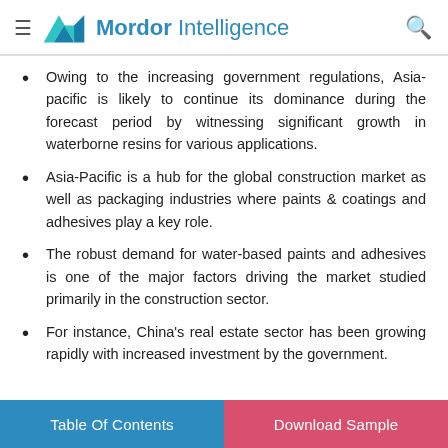Mordor Intelligence
Owing to the increasing government regulations, Asia-pacific is likely to continue its dominance during the forecast period by witnessing significant growth in waterborne resins for various applications.
Asia-Pacific is a hub for the global construction market as well as packaging industries where paints & coatings and adhesives play a key role.
The robust demand for water-based paints and adhesives is one of the major factors driving the market studied primarily in the construction sector.
For instance, China's real estate sector has been growing rapidly with increased investment by the government.
Table Of Contents   Download Sample